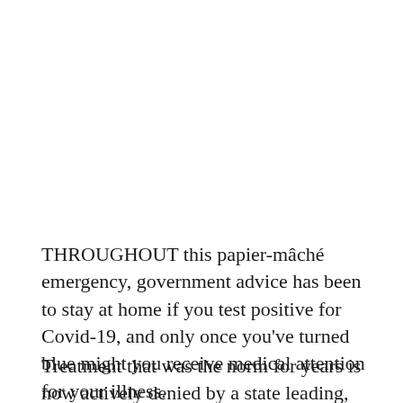THROUGHOUT this papier-mâché emergency, government advice has been to stay at home if you test positive for Covid-19, and only once you've turned blue might you receive medical attention for your illness.
Treatment that was the norm for years is now actively denied by a state leading, inter alia, to